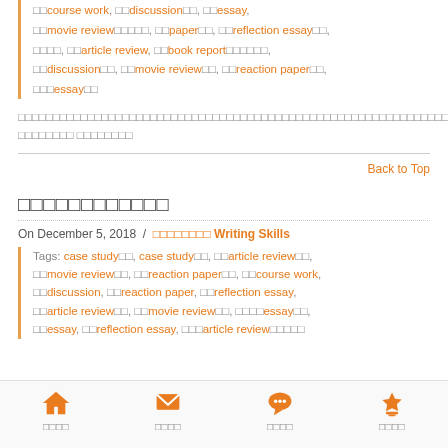□□course work, □□discussion□□, □□essay, □□movie review□□□□□, □□paper□□, □□reflection essay□□, □□□□, □□article review, □□book report□□□□□□, □□discussion□□, □□movie review□□, □□reaction paper□□, □□□essay□□
□□□□□□□□□□□□□□□□□□□□□□□□□□□□□□□□□□□□□□□□□□□□□□□□□□□□□□□□□□□□□□□□□□□□□□□□□□□□□□□□□□□□□□□□□□□□□□□□□□□□□□□□□□□□□□□□□□□□□□□□□□□□□□□□□□□□□□□□□□□□□□□□□□□□□□□□□□□□□? □□□□□□□□ □□□□□□□□
Back to Top
□□□□□□□□□□□□
On December 5, 2018 / □□□□□□□□ Writing Skills
Tags: case study□□, case study□□, □□article review□□, □□movie review□□, □□reaction paper□□, □□course work, □□discussion, □□reaction paper, □□reflection essay, □□article review□□, □□movie review□□, □□□□essay□□, □□essay, □□reflection essay, □□□article review□□□□□
□□□□  □□□□  □□□□  □□□□